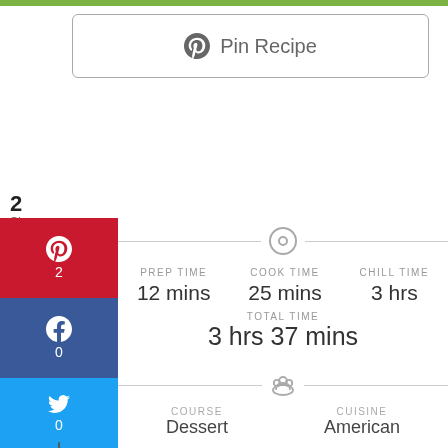Pin Recipe
2
Shares
P 2
f 0
t 0
+
PREP TIME 12 mins | COOK TIME 25 mins | CHILL TIME 3 hrs
TOTAL TIME
3 hrs 37 mins
COURSE
Dessert
CUISINE
American
Benzoyl Peroxide Ac Wash
Ad